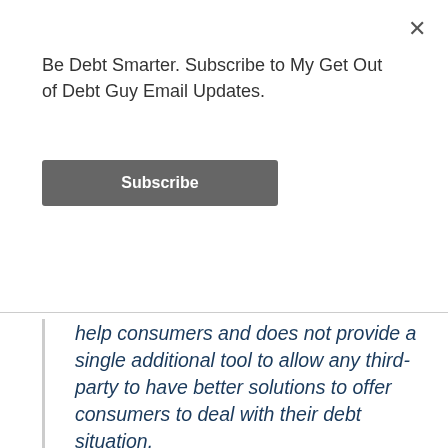Be Debt Smarter. Subscribe to My Get Out of Debt Guy Email Updates.
Subscribe
help consumers and does not provide a single additional tool to allow any third-party to have better solutions to offer consumers to deal with their debt situation.
The economic cost of compliance with so many various regulations is one of the primary reasons why my group decided to stop providing